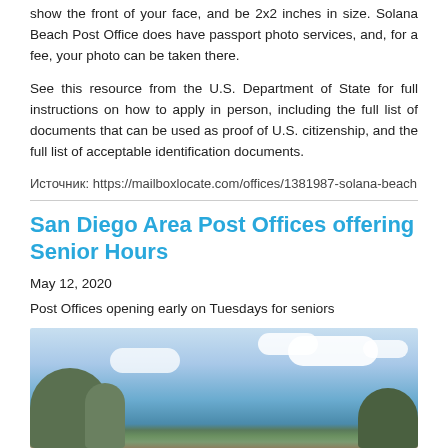show the front of your face, and be 2x2 inches in size. Solana Beach Post Office does have passport photo services, and, for a fee, your photo can be taken there.
See this resource from the U.S. Department of State for full instructions on how to apply in person, including the full list of documents that can be used as proof of U.S. citizenship, and the full list of acceptable identification documents.
Источник: https://mailboxlocate.com/offices/1381987-solana-beach
San Diego Area Post Offices offering Senior Hours
May 12, 2020
Post Offices opening early on Tuesdays for seniors
[Figure (photo): Outdoor photo showing bare trees against a blue sky with white clouds]